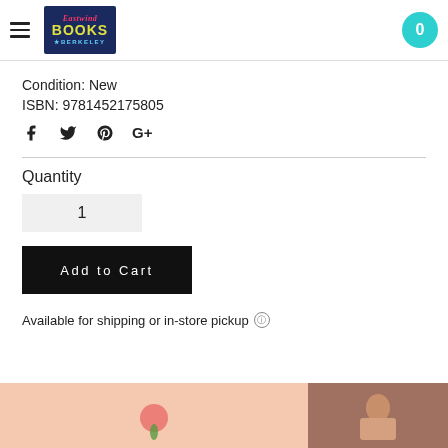Eastwind Books of Berkeley — navigation and cart
Condition: New
ISBN: 9781452175805
[Figure (other): Social media sharing icons: Facebook, Twitter, Pinterest, Google+]
Quantity
1
Add to Cart
Available for shipping or in-store pickup
[Figure (photo): Two partial photos at the bottom of the page — left appears to be a light pink background with a rose illustration, right shows a person in a hat]